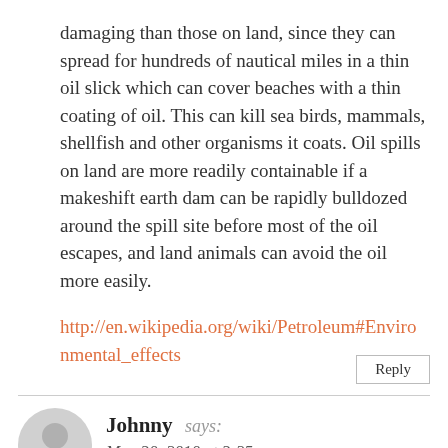damaging than those on land, since they can spread for hundreds of nautical miles in a thin oil slick which can cover beaches with a thin coating of oil. This can kill sea birds, mammals, shellfish and other organisms it coats. Oil spills on land are more readily containable if a makeshift earth dam can be rapidly bulldozed around the spill site before most of the oil escapes, and land animals can avoid the oil more easily.
http://en.wikipedia.org/wiki/Petroleum#Environmental_effects
Johnny says: May 30, 2010 at 3:25 pm
Like I have been saying you have to cut the pipe and have two new ends with oil coming out. Now